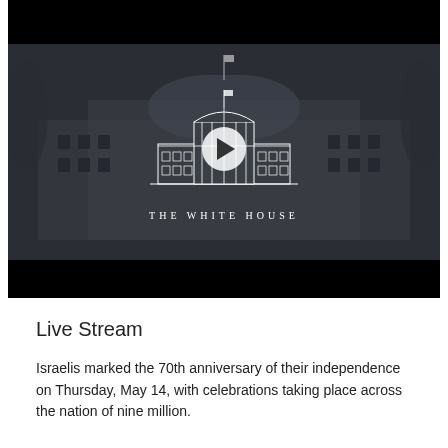[Figure (screenshot): White House video player with dark background showing The White House logo and building silhouette, with a play button overlay and black letterbox bars on top and bottom. Text 'THE WHITE HOUSE' appears below the logo.]
Live Stream
Israelis marked the 70th anniversary of their independence on Thursday, May 14, with celebrations taking place across the nation of nine million.